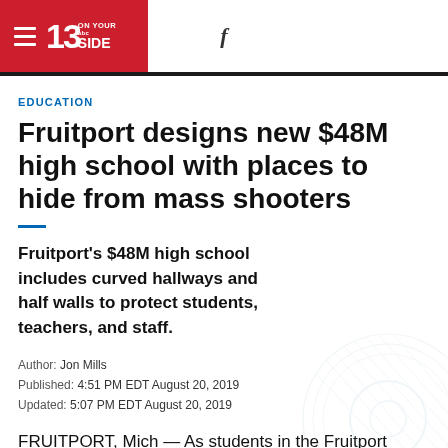13 ON YOUR SIDE (abc) — Facebook
EDUCATION
Fruitport designs new $48M high school with places to hide from mass shooters
Fruitport's $48M high school includes curved hallways and half walls to protect students, teachers, and staff.
Author: Jon Mills
Published: 4:51 PM EDT August 20, 2019
Updated: 5:07 PM EDT August 20, 2019
FRUITPORT, Mich — As students in the Fruitport School